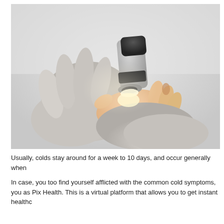[Figure (photo): A doctor wearing white latex gloves holding a patient's hand and examining the skin with a dermatoscope (handheld magnifying device). The background is blurred light grey/white clinical setting.]
Usually, colds stay around for a week to 10 days, and occur generally when
In case, you too find yourself afflicted with the common cold symptoms, you as Pix Health. This is a virtual platform that allows you to get instant healthc